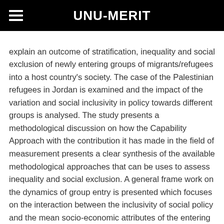UNU-MERIT
explain an outcome of stratification, inequality and social exclusion of newly entering groups of migrants/refugees into a host country's society. The case of the Palestinian refugees in Jordan is examined and the impact of the variation and social inclusivity in policy towards different groups is analysed. The study presents a methodological discussion on how the Capability Approach with the contribution it has made in the field of measurement presents a clear synthesis of the available methodological approaches that can be uses to assess inequality and social exclusion. A general frame work on the dynamics of group entry is presented which focuses on the interaction between the inclusivity of social policy and the mean socio-economic attributes of the entering group. This is incorporated into a frame work with the concept of the social divisions (fault lines) and the probability of their formation. The